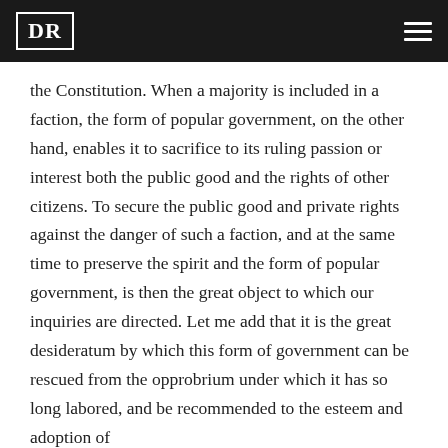DR
the Constitution. When a majority is included in a faction, the form of popular government, on the other hand, enables it to sacrifice to its ruling passion or interest both the public good and the rights of other citizens. To secure the public good and private rights against the danger of such a faction, and at the same time to preserve the spirit and the form of popular government, is then the great object to which our inquiries are directed. Let me add that it is the great desideratum by which this form of government can be rescued from the opprobrium under which it has so long labored, and be recommended to the esteem and adoption of